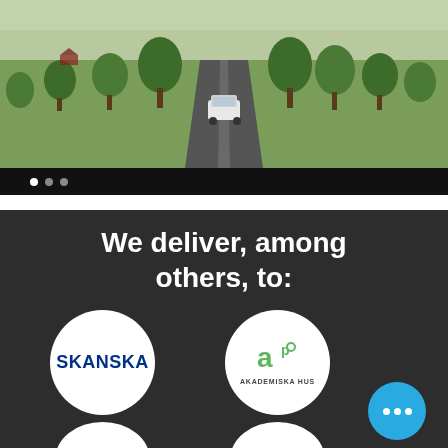[Figure (photo): Aerial drone view of a white car driving on a narrow asphalt road through a green countryside landscape with trees on both sides]
• • •  (slideshow navigation dots)
[Figure (infographic): Dark background section with text 'We deliver, among others, to:' and circular logo badges for Skanska, Akademiska Hus, PEAB, and another company, with a blue 'more' button]
We deliver, among others, to: